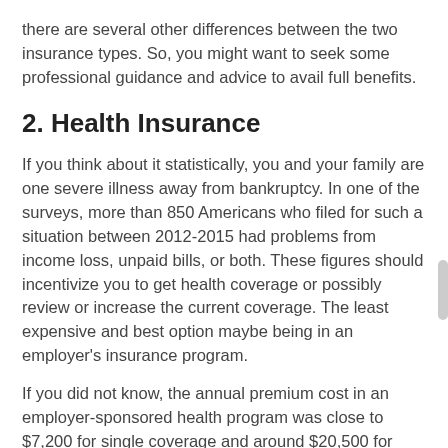there are several other differences between the two insurance types. So, you might want to seek some professional guidance and advice to avail full benefits.
2. Health Insurance
If you think about it statistically, you and your family are one severe illness away from bankruptcy. In one of the surveys, more than 850 Americans who filed for such a situation between 2012-2015 had problems from income loss, unpaid bills, or both. These figures should incentivize you to get health coverage or possibly review or increase the current coverage. The least expensive and best option maybe being in an employer's insurance program.
If you did not know, the annual premium cost in an employer-sponsored health program was close to $7,200 for single coverage and around $20,500 for